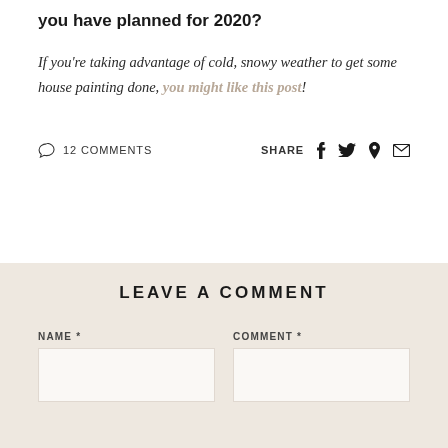you have planned for 2020?
If you're taking advantage of cold, snowy weather to get some house painting done, you might like this post!
○ 12 COMMENTS   SHARE f  t  p  ✉
LEAVE A COMMENT
NAME *
COMMENT *